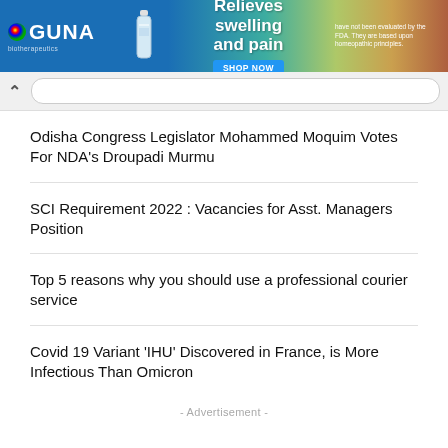[Figure (other): GUNA biotherapeutics advertisement banner. Relieves swelling and pain. SHOP NOW button. Text: have not been evaluated by the FDA. They are based upon homeopathic principles.]
Odisha Congress Legislator Mohammed Moquim Votes For NDA’s Droupadi Murmu
SCI Requirement 2022 : Vacancies for Asst. Managers Position
Top 5 reasons why you should use a professional courier service
Covid 19 Variant ‘IHU’ Discovered in France, is More Infectious Than Omicron
- Advertisement -